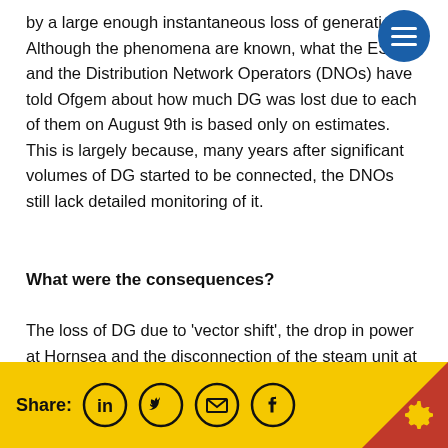by a large enough instantaneous loss of generation. Although the phenomena are known, what the ESO and the Distribution Network Operators (DNOs) have told Ofgem about how much DG was lost due to each of them on August 9th is based only on estimates. This is largely because, many years after significant volumes of DG started to be connected, the DNOs still lack detailed monitoring of it.
What were the consequences?
The loss of DG due to 'vector shift', the drop in power at Hornsea and the disconnection of the steam unit at Little Barford meant there was not enough generation to meet
Share: [linkedin] [twitter] [email] [facebook]